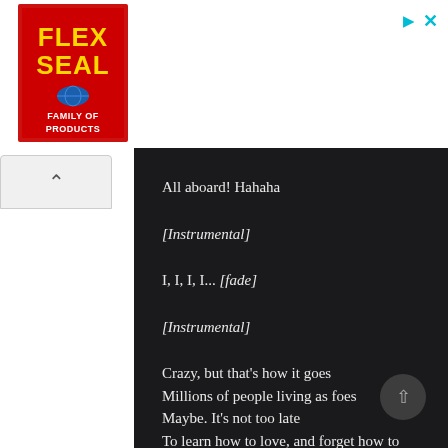[Figure (logo): Flex Seal Family of Products logo — red background with yellow stylized text FLEX SEAL and blue globe, white text FAMILY OF PRODUCTS below]
All aboard! Hahaha
[Instrumental]
I, I, I, I... [fade]
[Instrumental]
Crazy, but that's how it goes
Millions of people living as foes
Maybe. It's not too late
To learn how to love, and forget how to hate
Mental wounds not healing